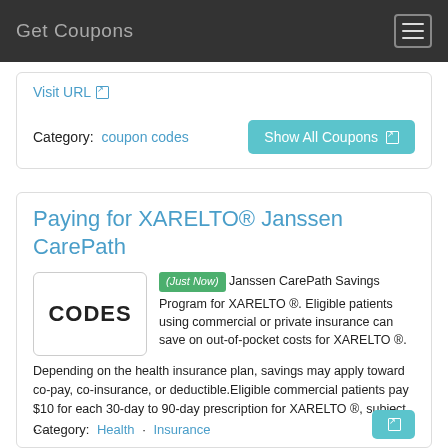Get Coupons
Visit URL
Category: coupon codes
Paying for XARELTO® Janssen CarePath
[Figure (other): CODES placeholder box]
(Just Now) Janssen CarePath Savings Program for XARELTO ®. Eligible patients using commercial or private insurance can save on out-of-pocket costs for XARELTO ®.Depending on the health insurance plan, savings may apply toward co-pay, co-insurance, or deductible.Eligible commercial patients pay $10 for each 30-day to 90-day prescription for XARELTO ®, subject …
Visit URL
Category: Health · Insurance